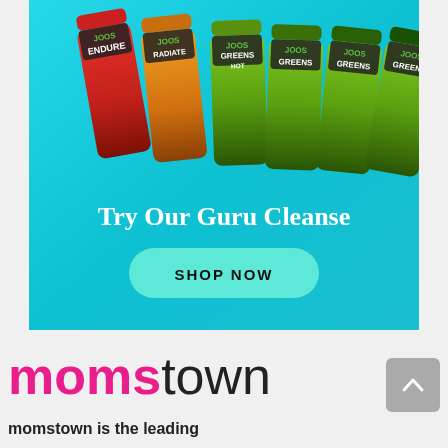[Figure (illustration): Advertisement banner for JOOS brand showing multiple juice/supplement bottles (ENDURE, RADIATE, GREENS, etc.) arranged in a row against a teal/cyan background. Text reads 'Try Our Guru Cleanse' with a teal 'SHOP NOW' button.]
momstown
momstown is the leading